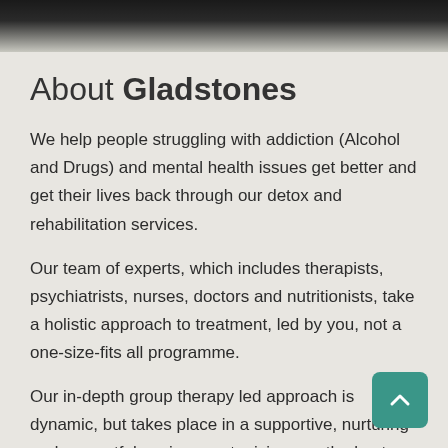[Figure (photo): Partial photo strip at the top of the page, dark/black background with light textured element visible]
About Gladstones
We help people struggling with addiction (Alcohol and Drugs) and mental health issues get better and get their lives back through our detox and rehabilitation services.
Our team of experts, which includes therapists, psychiatrists, nurses, doctors and nutritionists, take a holistic approach to treatment, led by you, not a one-size-fits all programme.
Our in-depth group therapy led approach is dynamic, but takes place in a supportive, nurturing and respectful environment, giving you the best possible chance of success.
And the journey doesn’t stop when you leave one of our residential centres, it begins. Our network of former clients and their families become an important part of long-term